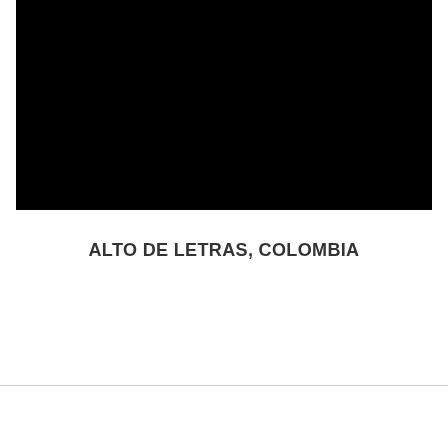[Figure (photo): A large black photographic image, likely a landscape or nighttime scene from Alto de Letras, Colombia. The image appears entirely black, possibly a dark mountain or night scene.]
ALTO DE LETRAS, COLOMBIA